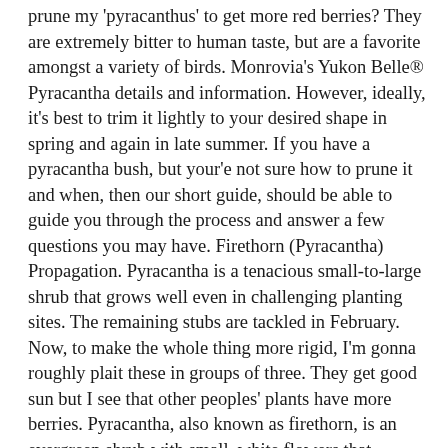prune my 'pyracanthus' to get more red berries? They are extremely bitter to human taste, but are a favorite amongst a variety of birds. Monrovia's Yukon Belle® Pyracantha details and information. However, ideally, it's best to trim it lightly to your desired shape in spring and again in late summer. If you have a pyracantha bush, but your'e not sure how to prune it and when, then our short guide, should be able to guide you through the process and answer a few questions you may have. Firethorn (Pyracantha) Propagation. Pyracantha is a tenacious small-to-large shrub that grows well even in challenging planting sites. The remaining stubs are tackled in February. Now, to make the whole thing more rigid, I'm gonna roughly plait these in groups of three. They get good sun but I see that other peoples' plants have more berries. Pyracantha, also known as firethorn, is an evergreen shrub with small, white flowers that